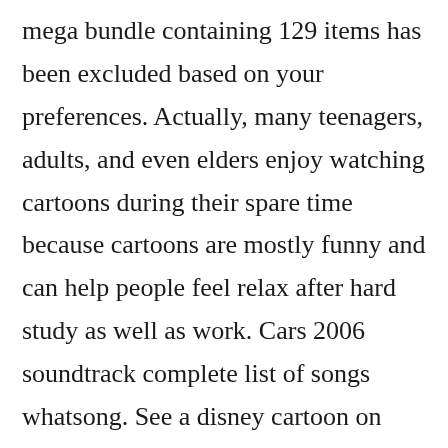mega bundle containing 129 items has been excluded based on your preferences. Actually, many teenagers, adults, and even elders enjoy watching cartoons during their spare time because cartoons are mostly funny and can help people feel relax after hard study as well as work. Cars 2006 soundtrack complete list of songs whatsong. See a disney cartoon on your desktop every 30 seconds. Real monsters 1995 snes ad police soundtrack vocal file 3 the man who bite his t. Copyright free soundtrack music for you to download and